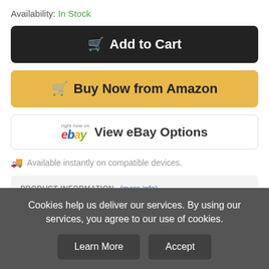Availability: In Stock
🛒 Add to Cart
🛒 Buy Now from Amazon
ebay View eBay Options
Available instantly on compatible devices.
PRODUCT INFORMATION (more info)
💬 See All Customer Reviews
📋 View Product Details
Cookies help us deliver our services. By using our services, you agree to our use of cookies.
Learn More | Accept